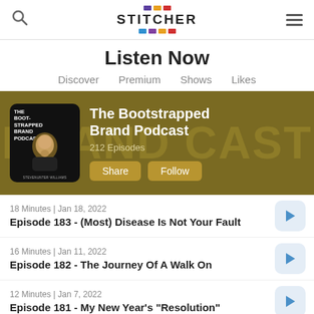Stitcher - Listen Now
Listen Now
Discover   Premium   Shows   Likes
[Figure (screenshot): The Bootstrapped Brand Podcast banner with cover art showing a man with a beard, title 'The Bootstrapped Brand Podcast', 212 Episodes, Share and Follow buttons, on a golden-brown background]
18 Minutes | Jan 18, 2022
Episode 183 - (Most) Disease Is Not Your Fault
16 Minutes | Jan 11, 2022
Episode 182 - The Journey Of A Walk On
12 Minutes | Jan 7, 2022
Episode 181 - My New Year's "Resolution"
14 Minutes | Jan 4, 2022
Episode 180 - ...